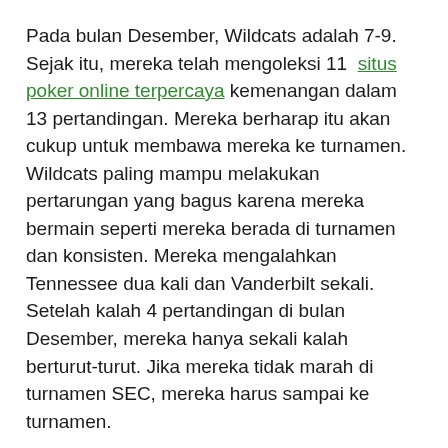Pada bulan Desember, Wildcats adalah 7-9. Sejak itu, mereka telah mengoleksi 11  situs poker online terpercaya kemenangan dalam 13 pertandingan. Mereka berharap itu akan cukup untuk membawa mereka ke turnamen. Wildcats paling mampu melakukan pertarungan yang bagus karena mereka bermain seperti mereka berada di turnamen dan konsisten. Mereka mengalahkan Tennessee dua kali dan Vanderbilt sekali. Setelah kalah 4 pertandingan di bulan Desember, mereka hanya sekali kalah berturut-turut. Jika mereka tidak marah di turnamen SEC, mereka harus sampai ke turnamen.
Gators telah memenangkan kejuaraan berturut-turut tetapi kehilangan beberapa pemain top setelah perebutan gelar tahun lalu dan diperkirakan akan berada di posisi terbawah SEC musim ini. Mereka 1-7 melawan lawan dengan peringkat RPI di 50 besar yang mungkin menjadi tokoh kunci menuju Minggu Seleksi. Kekalahan mereka dari Kentucky mengurangi